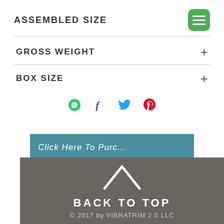ASSEMBLED SIZE
GROSS WEIGHT
BOX SIZE
[Figure (infographic): Social share icons: WhatsApp (green), Facebook (blue), Twitter (light blue), Pinterest (red)]
[Figure (infographic): Teal banner button with text 'Click Here To Purc...']
BACK TO TOP
© 2017 by VIBRATRIM 2.0 LLC